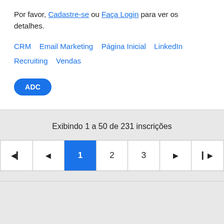Por favor, Cadastre-se ou Faça Login para ver os detalhes.
CRM   Email Marketing   Página Inicial   LinkedIn   Recruiting   Vendas
ADC
Exibindo 1 a 50 de 231 inscrições
[Figure (screenshot): Pagination control with buttons: first page (|<), previous (<), page 1 (active/blue), page 2, page 3, next (>), last (>|)]